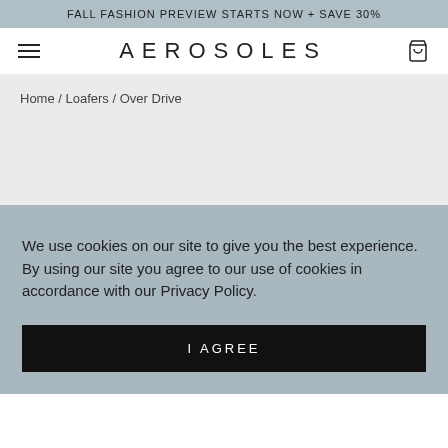FALL FASHION PREVIEW STARTS NOW + SAVE 30%
AEROSOLES
Home / Loafers / Over Drive
We use cookies on our site to give you the best experience. By using our site you agree to our use of cookies in accordance with our Privacy Policy.
I AGREE